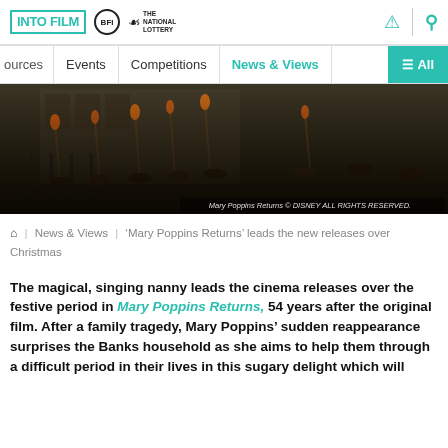INTO FILM | BFI | THE NATIONAL LOTTERY [header with icons]
ources | Events | Competitions | News & Views | All
[Figure (photo): Scene from Mary Poppins Returns showing a crowd of people holding torches/lampposts against an urban backdrop. Caption: Mary Poppins Returns © DISNEY ALL RIGHTS RESERVED.]
🏠 | News & Views | 'Mary Poppins Returns' leads the new releases over Christmas
The magical, singing nanny leads the cinema releases over the festive period in Mary Poppins Returns, 54 years after the original film. After a family tragedy, Mary Poppins' sudden reappearance surprises the Banks household as she aims to help them through a difficult period in their lives in this sugary delight which will